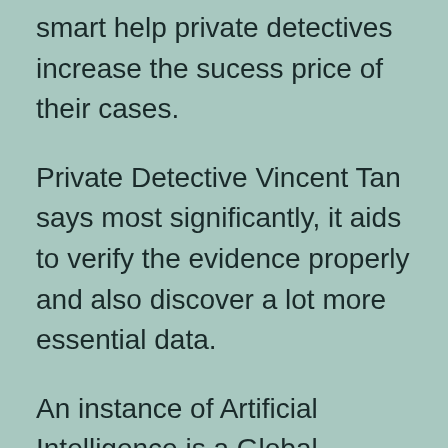smart help private detectives increase the sucess price of their cases.
Private Detective Vincent Tan says most significantly, it aids to verify the evidence properly and also discover a lot more essential data.
An instance of Artificial Intelligence is a Global Placement System (GENERAL PRACTITIONER) monitoring tool. A general practitioner tracking gadget utilizes the Expert system to works dynamically and also can tape everything inside a car when it finds motion or noise.